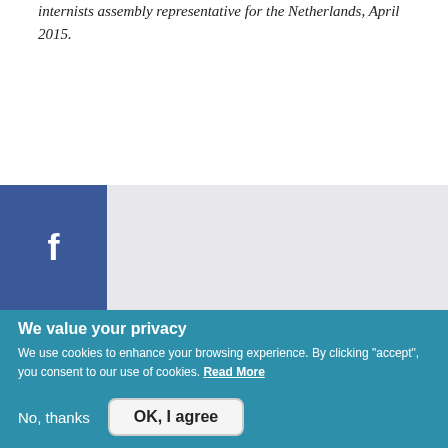internists assembly representative for the Netherlands, April 2015.
[Figure (infographic): Social media sidebar with Facebook (dark blue), Twitter (light blue), and LinkedIn (blue) icons, with a red bar below, and a purple Newsletters section with hamburger menu icon and text 'informed on our latest news!']
We value your privacy
We use cookies to enhance your browsing experience. By clicking "accept", you consent to our use of cookies. Read More
No, thanks
OK, I agree